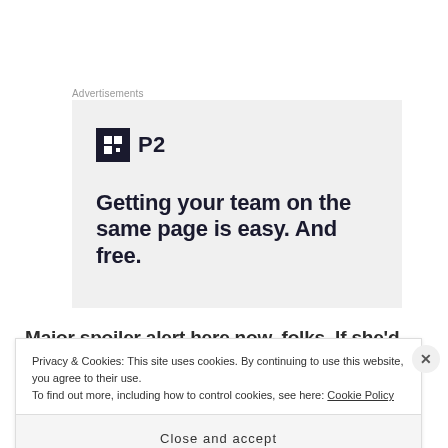Advertisements
[Figure (infographic): Advertisement for P2 product. Logo with a dark square icon and 'P2' text. Headline reads: 'Getting your team on the same page is easy. And free.']
Major spoiler alert here now, folks. If she’d known as she clocked in for work at the bar that
Privacy & Cookies: This site uses cookies. By continuing to use this website, you agree to their use.
To find out more, including how to control cookies, see here: Cookie Policy
Close and accept